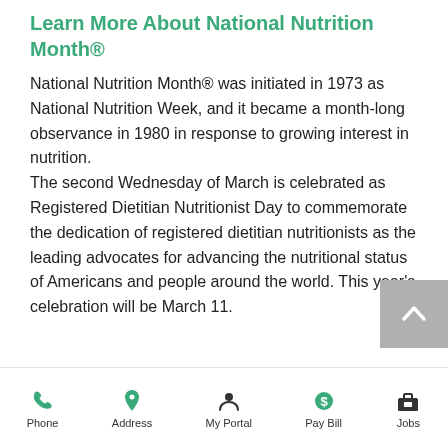Learn More About National Nutrition Month®
National Nutrition Month® was initiated in 1973 as National Nutrition Week, and it became a month-long observance in 1980 in response to growing interest in nutrition. The second Wednesday of March is celebrated as Registered Dietitian Nutritionist Day to commemorate the dedication of registered dietitian nutritionists as the leading advocates for advancing the nutritional status of Americans and people around the world. This year's celebration will be March 11.
Phone | Address | My Portal | Pay Bill | Jobs